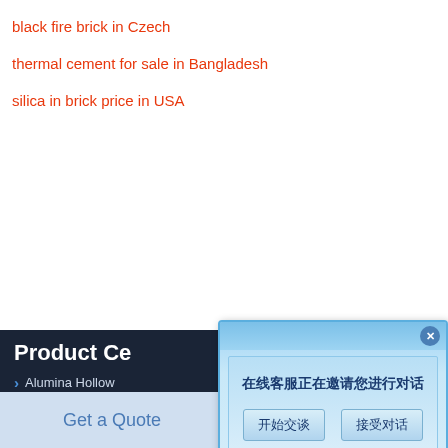black fire brick in Czech
thermal cement for sale in Bangladesh
silica in brick price in USA
Product Ce[nter]
Alumina Hollow [Ball Brick]
Corundum Spinel Castable
High Alumina Refractory Cement
High Alumina Low Cement Castable
High Alumina Refractory Ramming Mass
Trough Refractory Castable
[Figure (screenshot): Chat popup dialog with Chinese text '在线客服正在邀请您进行对话' and two buttons '开始交谈' and '接受对话']
Get a Quote
Chat Now